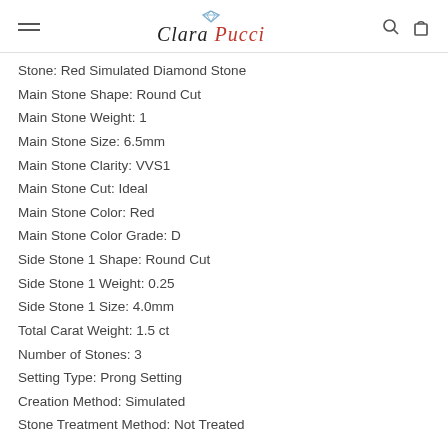Clara Pucci
Stone: Red Simulated Diamond Stone
Main Stone Shape: Round Cut
Main Stone Weight: 1
Main Stone Size: 6.5mm
Main Stone Clarity: VVS1
Main Stone Cut: Ideal
Main Stone Color: Red
Main Stone Color Grade: D
Side Stone 1 Shape: Round Cut
Side Stone 1 Weight: 0.25
Side Stone 1 Size: 4.0mm
Total Carat Weight: 1.5 ct
Number of Stones: 3
Setting Type: Prong Setting
Creation Method: Simulated
Stone Treatment Method: Not Treated